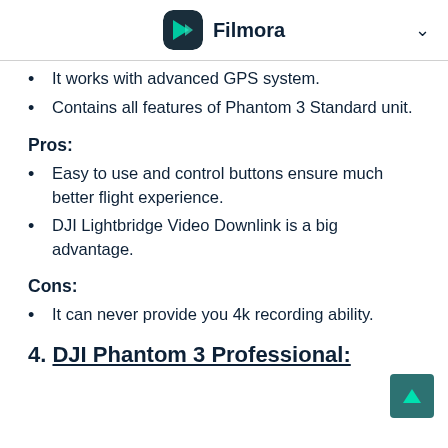Filmora
It works with advanced GPS system.
Contains all features of Phantom 3 Standard unit.
Pros:
Easy to use and control buttons ensure much better flight experience.
DJI Lightbridge Video Downlink is a big advantage.
Cons:
It can never provide you 4k recording ability.
4. DJI Phantom 3 Professional: